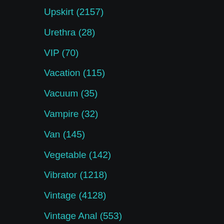Upskirt (2157)
Urethra (28)
VIP (70)
Vacation (115)
Vacuum (35)
Vampire (32)
Van (145)
Vegetable (142)
Vibrator (1218)
Vintage (4128)
Vintage Anal (553)
Virgin (408)
Virtual (119)
Vixen (301)
Voluptuous (169)
Voyeur (14862)